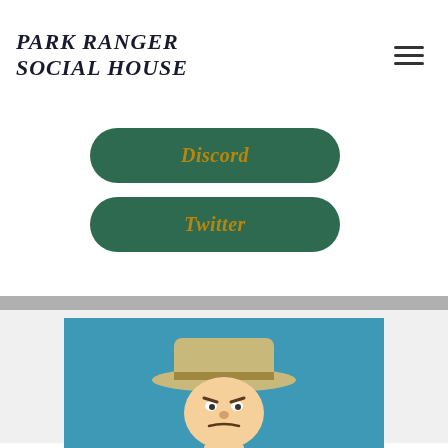PARK RANGER SOCIAL HOUSE
ition e park orld.
uely ngers nain. ou a cial t of a
[Figure (illustration): Two green rounded rectangle buttons labeled Discord and Twitter in golden italic text]
community that aims to actively contribute to the conservation of natural resources and the habitat of the world. This also grants members perks to the roadmap activation of the Social House.
[Figure (illustration): Cartoon illustration of an angry park ranger character wearing a wide-brimmed hat, on a teal/blue background]